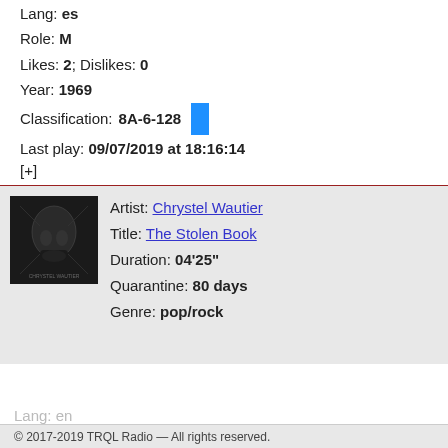Lang: es
Role: M
Likes: 2; Dislikes: 0
Year: 1969
Classification: 8A-6-128
Last play: 09/07/2019 at 18:16:14
[+]
Artist: Chrystel Wautier
Title: The Stolen Book
Duration: 04'25"
Quarantine: 80 days
Genre: pop/rock
© 2017-2019 TRQL Radio — All rights reserved.